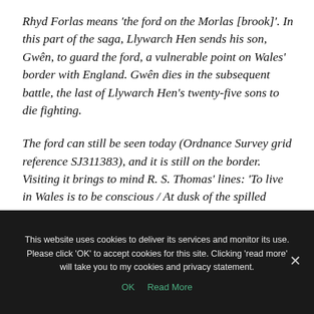Rhyd Forlas means 'the ford on the Morlas [brook]'. In this part of the saga, Llywarch Hen sends his son, Gwên, to guard the ford, a vulnerable point on Wales' border with England. Gwên dies in the subsequent battle, the last of Llywarch Hen's twenty-five sons to die fighting.
The ford can still be seen today (Ordnance Survey grid reference SJ311383), and it is still on the border. Visiting it brings to mind R. S. Thomas' lines: 'To live in Wales is to be conscious / At dusk of the spilled blood'
This website uses cookies to deliver its services and monitor its use. Please click 'OK' to accept cookies for this site. Clicking 'read more' will take you to my cookies and privacy statement.
OK   Read More